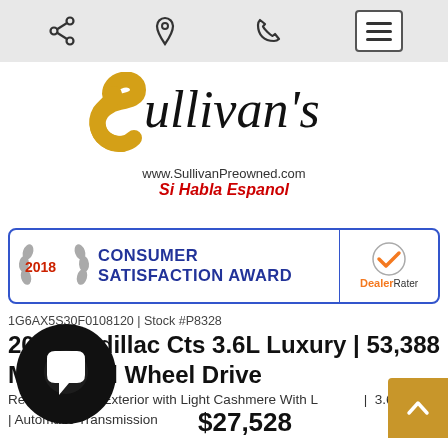Navigation bar with share, location, phone icons and menu button
[Figure (logo): Sullivan's dealership logo with stylized yellow S, script text 'ullivan's', website www.SullivanPreowned.com and tagline Si Habla Espanol]
[Figure (infographic): 2018 Consumer Satisfaction Award banner with DealerRater logo]
1G6AX5S30F0108120 | Stock #P8328
2015 Cadillac Cts 3.6L Luxury | 53,388 Miles | All Wheel Drive
Red Tintcoat Exterior with Light Cashmere With L... | 3.60 6 Cyl. | Automatic Transmission
$27,528